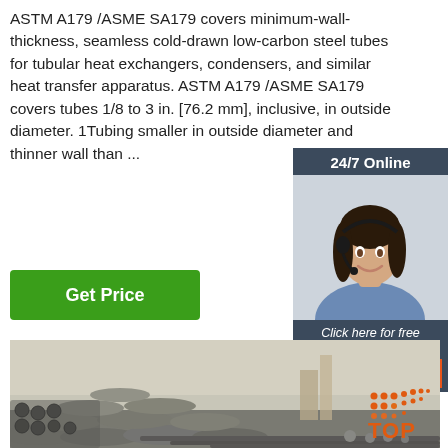ASTM A179 /ASME SA179 covers minimum-wall-thickness, seamless cold-drawn low-carbon steel tubes for tubular heat exchangers, condensers, and similar heat transfer apparatus. ASTM A179 /ASME SA179 covers tubes 1/8 to 3 in. [76.2 mm], inclusive, in outside diameter. 1Tubing smaller in outside diameter and thinner wall than ...
[Figure (other): Green 'Get Price' button]
[Figure (other): 24/7 Online chat widget with woman wearing headset, 'Click here for free chat!' text, and orange QUOTATION button]
[Figure (photo): Stacks of steel tubes/rebar in an outdoor industrial yard with structures in background]